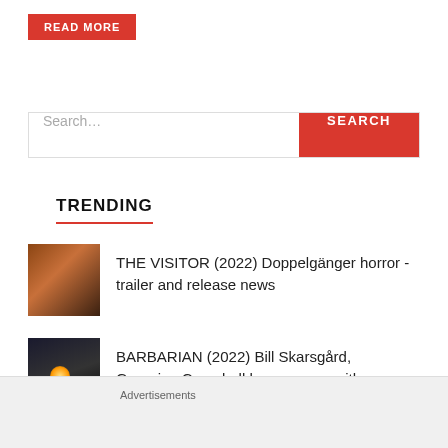READ MORE
Search...
SEARCH
TRENDING
[Figure (photo): Thumbnail image for The Visitor 2022 article, dark reddish-brown tones showing a figure]
THE VISITOR (2022) Doppelgänger horror - trailer and release news
[Figure (photo): Thumbnail image for Barbarian 2022 article, dark scene with glowing light]
BARBARIAN (2022) Bill Skarsgård, Georgina Campbell horror - now with
Advertisements